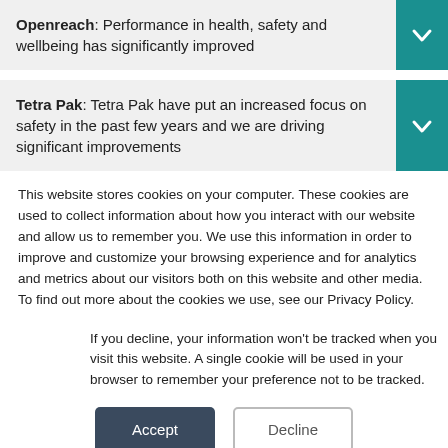Openreach: Performance in health, safety and wellbeing has significantly improved
Tetra Pak: Tetra Pak have put an increased focus on safety in the past few years and we are driving significant improvements
This website stores cookies on your computer. These cookies are used to collect information about how you interact with our website and allow us to remember you. We use this information in order to improve and customize your browsing experience and for analytics and metrics about our visitors both on this website and other media. To find out more about the cookies we use, see our Privacy Policy.
If you decline, your information won’t be tracked when you visit this website. A single cookie will be used in your browser to remember your preference not to be tracked.
Accept
Decline